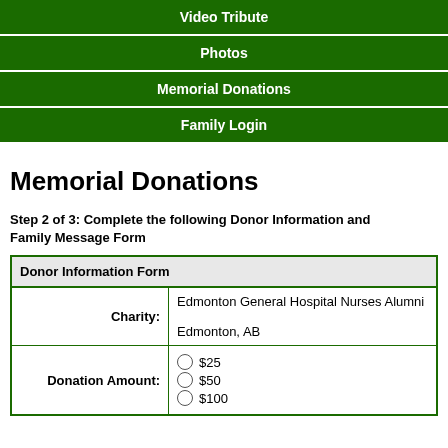Video Tribute
Photos
Memorial Donations
Family Login
Memorial Donations
Step 2 of 3: Complete the following Donor Information and Family Message Form
| Donor Information Form |
| --- |
| Charity: | Edmonton General Hospital Nurses Alumni

Edmonton, AB |
| Donation Amount: | $25
$50
$100 |